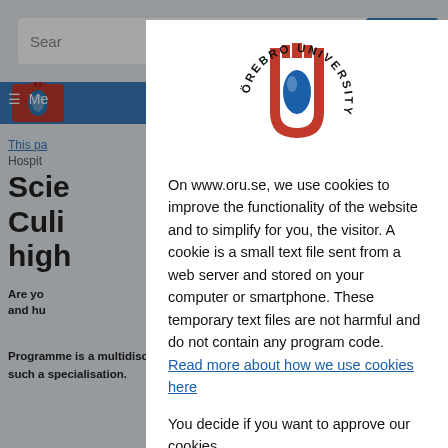[Figure (screenshot): Background showing Örebro University website with search bar, navigation, logo, breadcrumb, and partial page title 'Science, Culinary... 30 high...' visible behind a cookie consent overlay]
[Figure (logo): Örebro University logo — red horseshoe-shaped crest with blue oval center, text 'ÖREBRO UNIVERSITY' in circular arc]
On www.oru.se, we use cookies to improve the functionality of the website and to simplify for you, the visitor. A cookie is a small text file sent from a web server and stored on your computer or smartphone. These temporary text files are not harmful and do not contain any program code.
Read more about how we use cookies here
You decide if you want to approve our cookies.
I accept cookies
Don't save any cookies